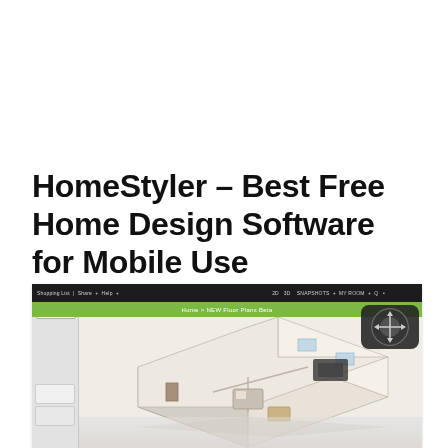HomeStyler – Best Free Home Design Software for Mobile Use
[Figure (screenshot): Screenshot of HomeStyler web application showing a 3D isometric floor plan view of a home interior with rooms, furniture, windows, and a navigation control circle in the top right. A green breadcrumb navigation bar reads 'Home > NEW Floor Plans Beta'. Dark toolbar at top with menu items including Shopping List, Share, Help, and view controls.]